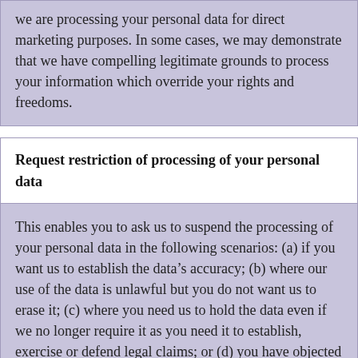we are processing your personal data for direct marketing purposes. In some cases, we may demonstrate that we have compelling legitimate grounds to process your information which override your rights and freedoms.
Request restriction of processing of your personal data
This enables you to ask us to suspend the processing of your personal data in the following scenarios: (a) if you want us to establish the data's accuracy; (b) where our use of the data is unlawful but you do not want us to erase it; (c) where you need us to hold the data even if we no longer require it as you need it to establish, exercise or defend legal claims; or (d) you have objected to our use of your data but we need to verify whether we have overriding legitimate grounds to use it.